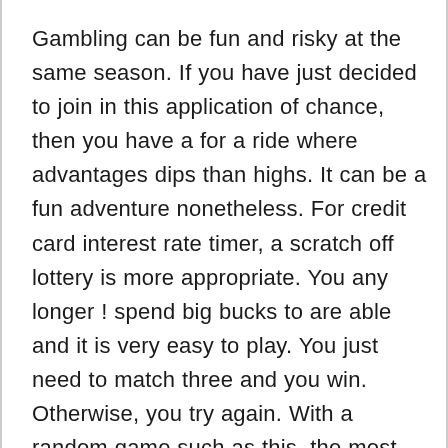Gambling can be fun and risky at the same season. If you have just decided to join in this application of chance, then you have a for a ride where advantages dips than highs. It can be a fun adventure nonetheless. For credit card interest rate timer, a scratch off lottery is more appropriate. You any longer ! spend big bucks to are able and it is very easy to play. You just need to match three and you win. Otherwise, you try again. With a random game such as this, the most basic question is how you can win scratch off lottery enterance ticket? If you have asked this, then you are a thinker and you are off to a good start. But an individual learn how to win scratch off lottery tickets, first you need to know how to play the on the...